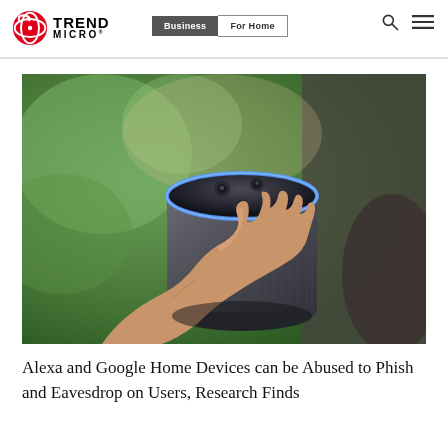Trend Micro | Business | For Home
[Figure (photo): A hand pressing the top of an Amazon Echo (Alexa) smart speaker device with a glowing blue ring, against a blurred green plant background]
Alexa and Google Home Devices can be Abused to Phish and Eavesdrop on Users, Research Finds